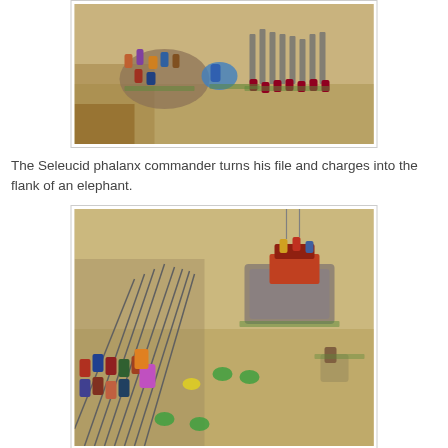[Figure (photo): Aerial view of painted miniature wargame figures on a tan/brown gaming mat. Shows cavalry and phalanx infantry figures arranged in battle formation.]
The Seleucid phalanx commander turns his file and charges into the flank of an elephant.
[Figure (photo): Aerial view of painted miniature wargame figures on a tan gaming mat. Shows a phalanx unit of spear-armed infantry charging into the flank of an elephant unit, with green and yellow token markers visible on the mat.]